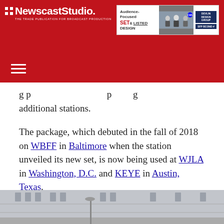NewscastStudio — The Trade Publication for Broadcast Production
[Figure (screenshot): Advertisement banner: Audience-Focused SET & LISTED DESIGN with news anchors and Devlin Design Group logo]
…groups planning to expand to additional stations.
The package, which debuted in the fall of 2018 on WBFF in Baltimore when the station unveiled its new set, is now being used at WJLA in Washington, D.C. and KEYE in Austin, Texas.
WJLA's new look features diagonal layers and horizontal bars in fullscreen elements with clean and simple lower third banners.
[Figure (photo): Exterior photo of a building, partially visible at bottom of page]